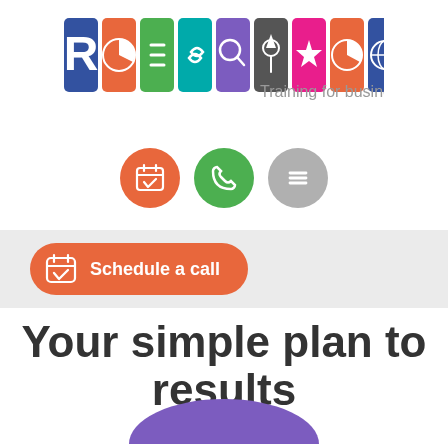[Figure (logo): Robertson Training for business logo with colorful illustrated letters and tagline 'Training for business']
[Figure (infographic): Three circular icon buttons: orange calendar/schedule icon, green phone icon, gray hamburger menu icon]
[Figure (infographic): Orange rounded button with calendar icon and text 'Schedule a call' on a light grey banner background]
Your simple plan to results
[Figure (illustration): Purple semi-circle arc visible at bottom of page]